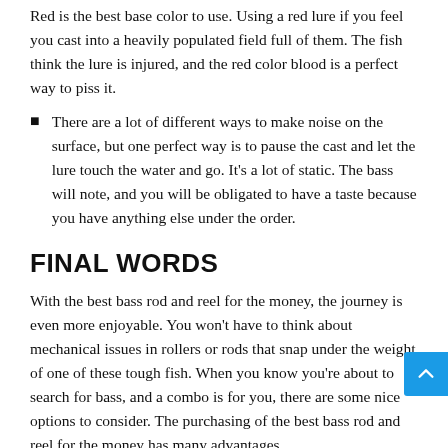Red is the best base color to use. Using a red lure if you feel you cast into a heavily populated field full of them. The fish think the lure is injured, and the red color blood is a perfect way to piss it.
There are a lot of different ways to make noise on the surface, but one perfect way is to pause the cast and let the lure touch the water and go. It's a lot of static. The bass will note, and you will be obligated to have a taste because you have anything else under the order.
FINAL WORDS
With the best bass rod and reel for the money, the journey is even more enjoyable. You won't have to think about mechanical issues in rollers or rods that snap under the weight of one of these tough fish. When you know you're about to search for bass, and a combo is for you, there are some nice options to consider. The purchasing of the best bass rod and reel for the money has many advantages.